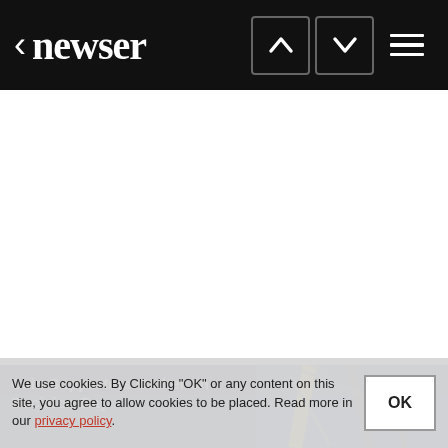< newser
[Figure (photo): Partial view of a news article card showing masts/rigging against blue sky, with title 'Cain Supporters Gather on Decision Day' overlaid on dark background]
We use cookies. By Clicking "OK" or any content on this site, you agree to allow cookies to be placed. Read more in our privacy policy.